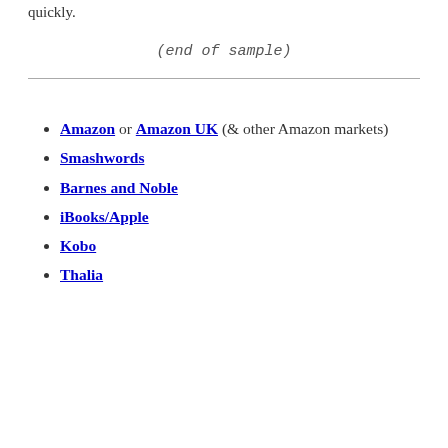quickly.
(end of sample)
Amazon or Amazon UK (& other Amazon markets)
Smashwords
Barnes and Noble
iBooks/Apple
Kobo
Thalia